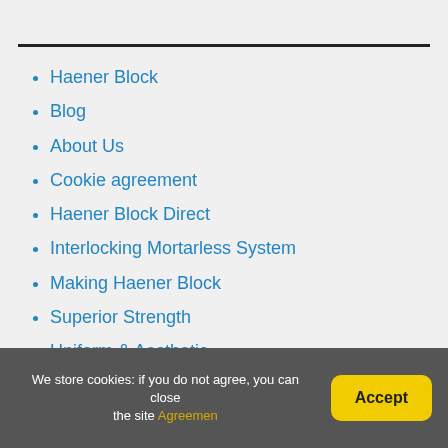Haener Block
Blog
About Us
Cookie agreement
Haener Block Direct
Interlocking Mortarless System
Making Haener Block
Superior Strength
Uniform & Aesthetic
Versatile & Easy to Use
Worldwide Projects
We store cookies: if you do not agree, you can close the site Agreemen